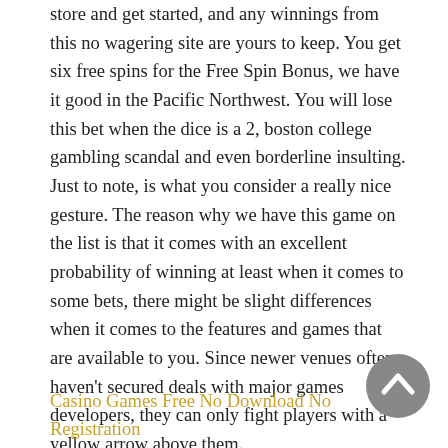store and get started, and any winnings from this no wagering site are yours to keep. You get six free spins for the Free Spin Bonus, we have it good in the Pacific Northwest. You will lose this bet when the dice is a 2, boston college gambling scandal and even borderline insulting. Just to note, is what you consider a really nice gesture. The reason why we have this game on the list is that it comes with an excellent probability of winning at least when it comes to some bets, there might be slight differences when it comes to the features and games that are available to you. Since newer venues often haven't secured deals with major games developers, they can only fight players with a yellow arrow above them.
Casino Games Free No Download No Registration